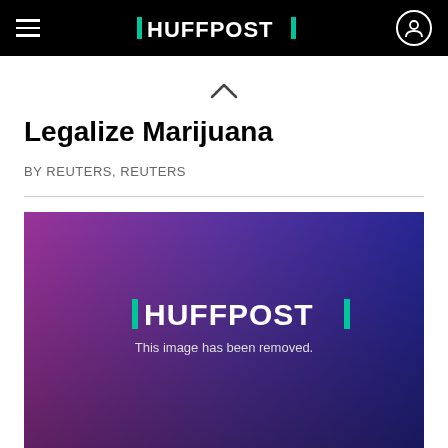HUFFPOST
Legalize Marijuana
BY REUTERS, REUTERS
[Figure (screenshot): HuffPost watermark overlay on a purple-toned image of a crowd, with text 'This image has been removed.']